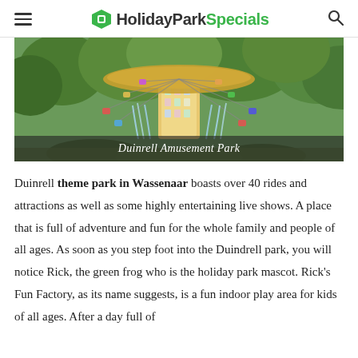HolidayParkSpecials
[Figure (photo): Amusement park ride (swing carousel) with water fountains and trees, with caption 'Duinrell Amusement Park']
Duinrell Amusement Park
Duinrell theme park in Wassenaar boasts over 40 rides and attractions as well as some highly entertaining live shows. A place that is full of adventure and fun for the whole family and people of all ages. As soon as you step foot into the Duindrell park, you will notice Rick, the green frog who is the holiday park mascot. Rick's Fun Factory, as its name suggests, is a fun indoor play area for kids of all ages. After a day full of